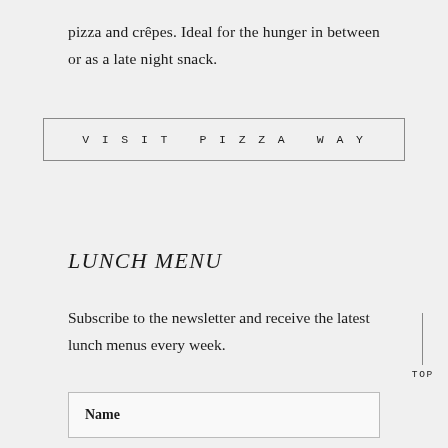pizza and crêpes. Ideal for the hunger in between or as a late night snack.
VISIT PIZZA WAY
LUNCH MENU
Subscribe to the newsletter and receive the latest lunch menus every week.
Name
TOP